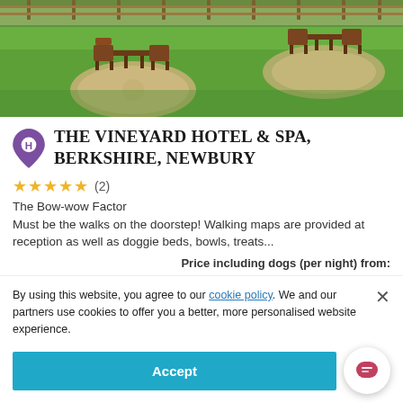[Figure (photo): Outdoor garden/patio area of hotel with green grass, circular stone paving areas and wooden furniture (chairs and tables)]
THE VINEYARD HOTEL & SPA, BERKSHIRE, NEWBURY
★★★★★ (2)
The Bow-wow Factor
Must be the walks on the doorstep! Walking maps are provided at reception as well as doggie beds, bowls, treats...
Price including dogs (per night) from:
£495.00
EXPLORE AND BOOK
By using this website, you agree to our cookie policy. We and our partners use cookies to offer you a better, more personalised website experience.
Accept